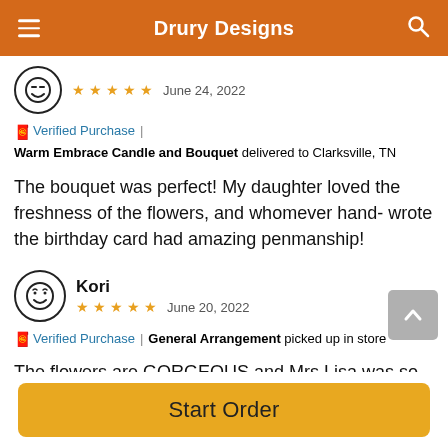Drury Designs
★★★★★  June 24, 2022
🧧 Verified Purchase  |  Warm Embrace Candle and Bouquet delivered to Clarksville, TN
The bouquet was perfect! My daughter loved the freshness of the flowers, and whomever hand- wrote the birthday card had amazing penmanship!
Kori  ★★★★★  June 20, 2022
🧧 Verified Purchase  |  General Arrangement picked up in store
The flowers are GORGEOUS and Mrs Lisa was so sweet.
Start Order